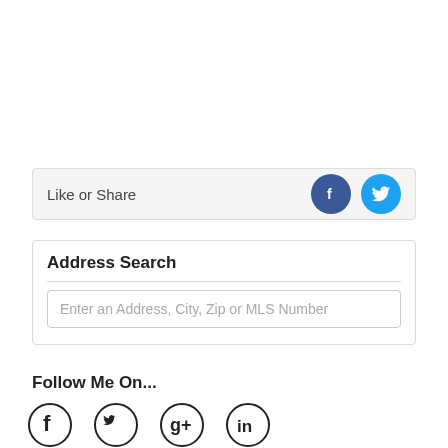Like or Share
Address Search
Enter an Address, City, Zip or MLS Number
Follow Me On...